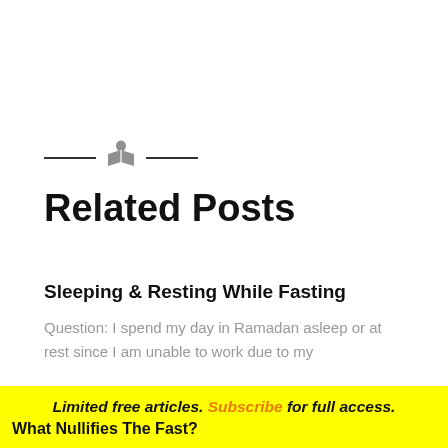[Figure (illustration): Decorative divider with a person reading a book icon flanked by two horizontal lines]
Related Posts
Sleeping & Resting While Fasting
Question: I spend my day in Ramadan asleep or at rest since I am unable to work due to my
Limited free articles. Subscribe for full access.
What Nullifies The Fast?